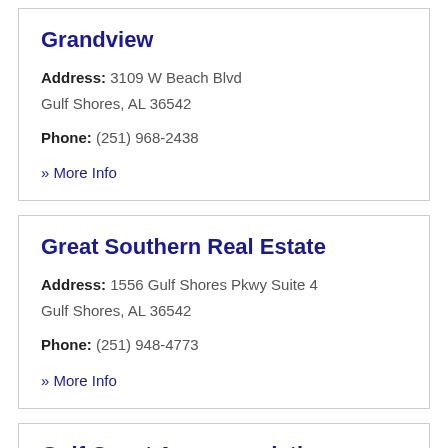Grandview
Address: 3109 W Beach Blvd Gulf Shores, AL 36542
Phone: (251) 968-2438
» More Info
Great Southern Real Estate
Address: 1556 Gulf Shores Pkwy Suite 4 Gulf Shores, AL 36542
Phone: (251) 948-4773
» More Info
Gulf Coast Accommodations